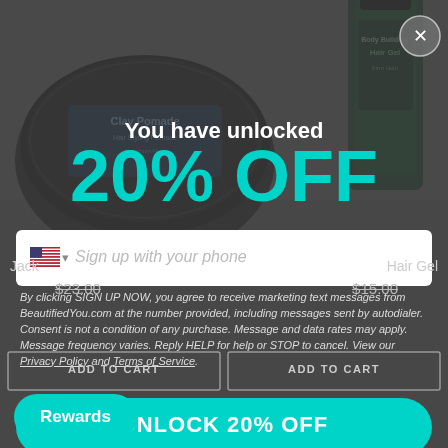[Figure (screenshot): E-commerce website screenshot showing hair products (Clay Pomade and Body Building Hair Gel) with a modal popup offering 20% off discount in exchange for phone number sign-up.]
You have unlocked
20% OFF
Sign up with your phone
By clicking SIGN UP NOW, you agree to receive marketing text messages from BeautifiedYou.com at the number provided, including messages sent by autodialer. Consent is not a condition of any purchase. Message and data rates may apply. Message frequency varies. Reply HELP for help or STOP to cancel. View our Privacy Policy and Terms of Service.
UNLOCK 20% OFF
Jack
Hair Gel
$23.00
$15.00
ADD TO CART
ADD TO CART
Rewards